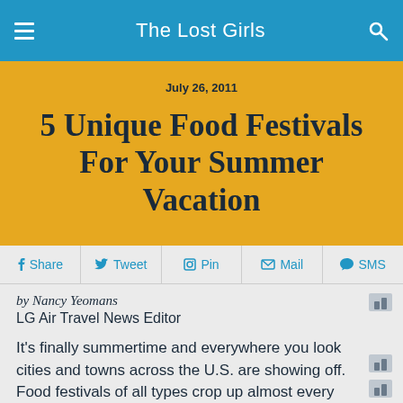The Lost Girls
July 26, 2011
5 Unique Food Festivals For Your Summer Vacation
Share  Tweet  Pin  Mail  SMS
by Nancy Yeomans
LG Air Travel News Editor
It's finally summertime and everywhere you look cities and towns across the U.S. are showing off. Food festivals of all types crop up almost every